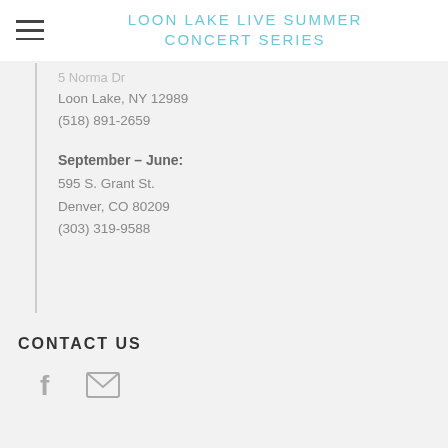LOON LAKE LIVE SUMMER CONCERT SERIES
5 Norma Dr
Loon Lake, NY 12989
(518) 891-2659
September – June:
595 S. Grant St.
Denver, CO 80209
(303) 319-9588
CONTACT US
[Figure (infographic): Facebook icon and email/envelope icon]